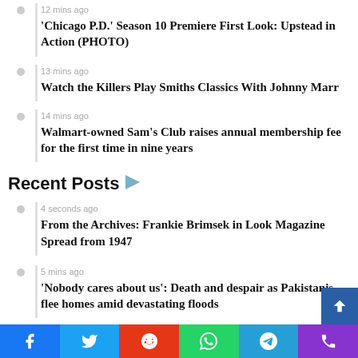12 mins ago
'Chicago P.D.' Season 10 Premiere First Look: Upstead in Action (PHOTO)
13 mins ago
Watch the Killers Play Smiths Classics With Johnny Marr
14 mins ago
Walmart-owned Sam's Club raises annual membership fee for the first time in nine years
Recent Posts
4 seconds ago
From the Archives: Frankie Brimsek in Look Magazine Spread from 1947
5 mins ago
'Nobody cares about us': Death and despair as Pakistanis flee homes amid devastating floods